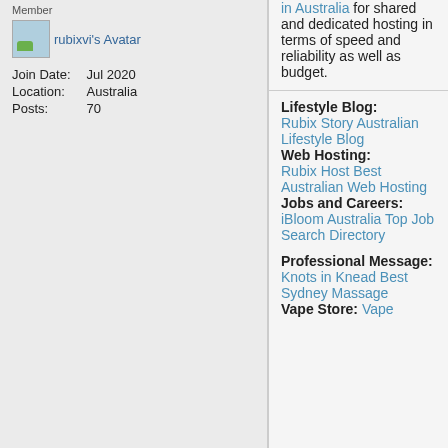Member
[Figure (photo): rubixvi's Avatar image thumbnail]
Join Date: Jul 2020
Location: Australia
Posts: 70
in Australia for shared and dedicated hosting in terms of speed and reliability as well as budget.
Lifestyle Blog: Rubix Story Australian Lifestyle Blog
Web Hosting: Rubix Host Best Australian Web Hosting
Jobs and Careers: iBloom Australia Top Job Search Directory
Professional Message: Knots in Knead Best Sydney Massage
Vape Store: Vape